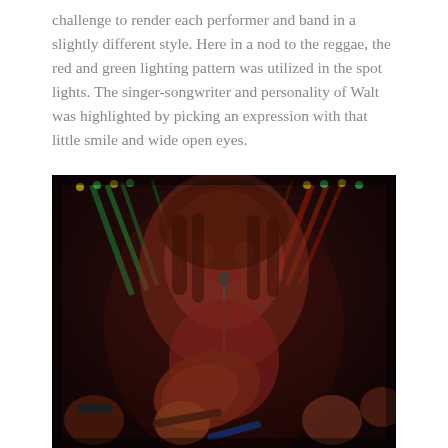challenge to render each performer and band in a slightly different style. Here in a nod to the reggae, the red and green lighting pattern was utilized in the spot lights. The singer-songwriter and personality of Walt was highlighted by picking an expression with that little smile and wide open eyes.
[Figure (photo): Concert photo showing a bearded male singer performing at a microphone with an acoustic guitar, dramatic red and green stage lighting with multiple spotlights. A large close-up projection of the singer's face is visible in the background. Other band members are visible in the lower portion of the image playing electric guitars.]